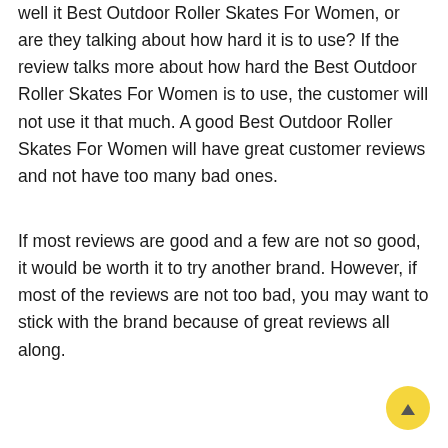well it Best Outdoor Roller Skates For Women, or are they talking about how hard it is to use? If the review talks more about how hard the Best Outdoor Roller Skates For Women is to use, the customer will not use it that much. A good Best Outdoor Roller Skates For Women will have great customer reviews and not have too many bad ones.
If most reviews are good and a few are not so good, it would be worth it to try another brand. However, if most of the reviews are not too bad, you may want to stick with the brand because of great reviews all along.